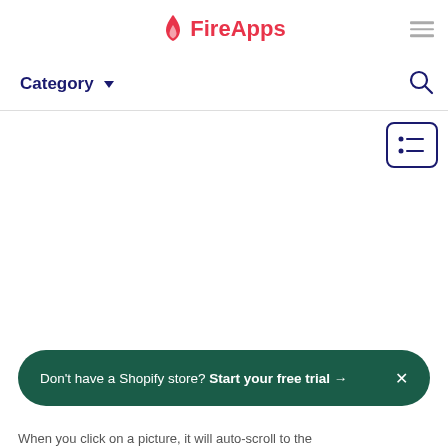FireApps
Category
[Figure (screenshot): List view icon button with two bullet points and horizontal lines, bordered in dark navy blue]
Don't have a Shopify store? Start your free trial →
When you click on a picture, it will auto-scroll to the